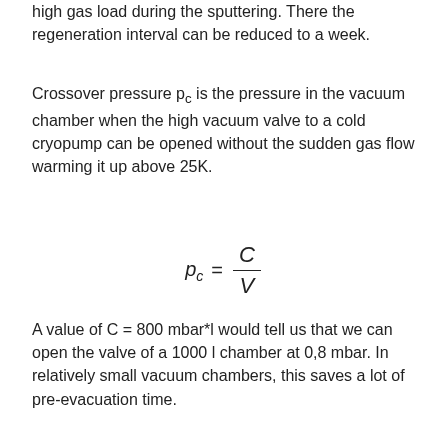high gas load during the sputtering. There the regeneration interval can be reduced to a week.
Crossover pressure p_c is the pressure in the vacuum chamber when the high vacuum valve to a cold cryopump can be opened without the sudden gas flow warming it up above 25K.
A value of C = 800 mbar*l would tell us that we can open the valve of a 1000 l chamber at 0,8 mbar. In relatively small vacuum chambers, this saves a lot of pre-evacuation time.